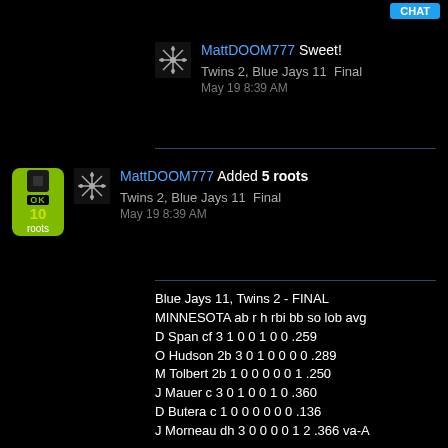MattDOOM777 Sweet!
Twins 2, Blue Jays 11  Final
May 19 8:39 AM
MattDOOM777 Added 5 roots
Twins 2, Blue Jays 11  Final
May 19 8:39 AM
Blue Jays 11, Twins 2 - FINAL
MINNESOTA ab r h rbi bb so lob avg
D Span cf 3 1 0 0 1 0 0 .259
O Hudson 2b 3 0 1 0 0 0 0 .289
M Tolbert 2b 1 0 0 0 0 0 1 .250
J Mauer c 3 0 1 0 0 1 0 .360
D Butera c 1 0 0 0 0 0 0 .136
J Morneau dh 3 0 0 0 0 1 2 .366 va-A

May 18 3:11 PM